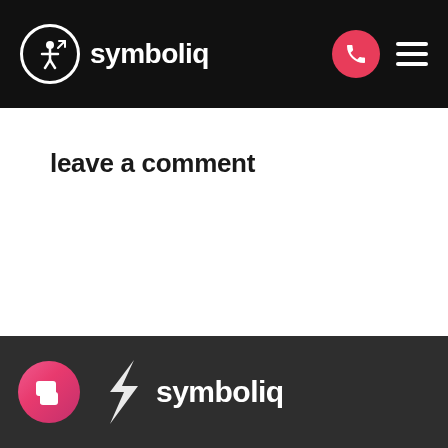symboliq
leave a comment
symboliq